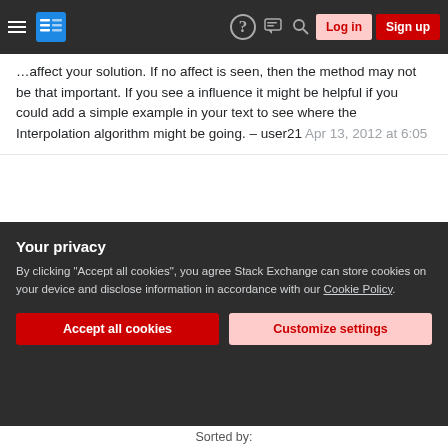Stack Exchange navigation bar with hamburger menu, logo, help, chat, search icons, Log in and Sign up buttons
You could try different methods and see how they affect your solution. If no affect is seen, then the method may not be that important. If you see a influence it might be helpful if you could add a simple example in your text to see where the Interpolation algorithm might be going. – user21 Apr 13, 2012 at 6:05
Were you able to find enough research material for your paper? Not to detract from mathematica in any way, but since your goal is to understand splines in general, start off with beta splines because they are so common and you can see them applied in a variety of contexts. For example, they are popular in animation programs for drawing character paths. If playing with
Your privacy
By clicking "Accept all cookies", you agree Stack Exchange can store cookies on your device and disclose information in accordance with our Cookie Policy.
Accept all cookies   Customize settings
Sorted by: